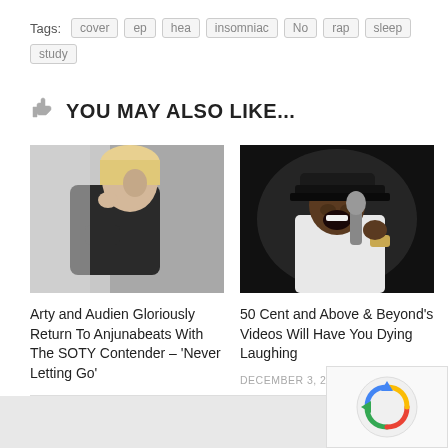Tags: cover  ep  hea  insomniac  No  rap  sleep  study
👍 YOU MAY ALSO LIKE...
[Figure (photo): Black and white photo of a blonde woman in a black jacket leaning against a wall]
Arty and Audien Gloriously Return To Anjunabeats With The SOTY Contender – 'Never Letting Go'
NOVEMBER 9, 2018
[Figure (photo): Black and white photo of a man wearing a cap and holding a microphone]
50 Cent and Above & Beyond's Videos Will Have You Dying Laughing
DECEMBER 3, 2018